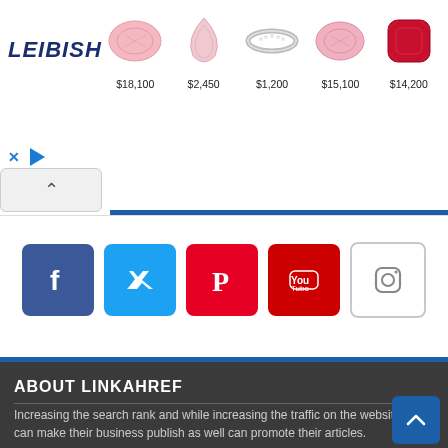[Figure (screenshot): Leibish jewelry advertisement banner showing 5 gemstone items with prices: $18,100 (pink oval diamond), $2,450 (pink pear diamond), $1,200 (diamond ring), $15,100 (pink oval), $14,200 (red cushion ruby). Leibish logo on left.]
[Figure (infographic): Row of 5 social media icon buttons: Facebook (blue f), Twitter (blue bird), Pinterest (red P), YouTube (red Tube logo), Instagram (camera outline on white)]
ABOUT LINKAHREF
Increasing the search rank and while increasing the traffic on the website one can make their business publish as well can promote their articles.